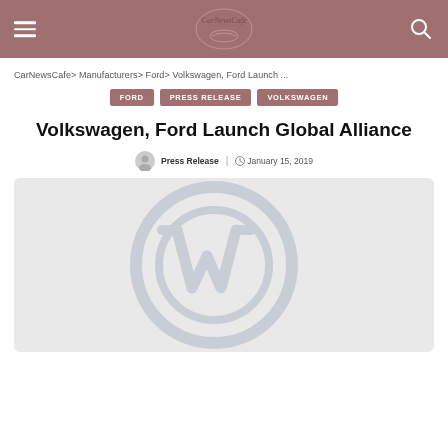CarNewsCafe logo and navigation
CarNewsCafe > Manufacturers > Ford > Volkswagen, Ford Launch ...
FORD | PRESS RELEASE | VOLKSWAGEN
Volkswagen, Ford Launch Global Alliance
Press Release | January 15, 2019
[Figure (photo): Volkswagen logo / badge on a light gray background, faded/watermark style]